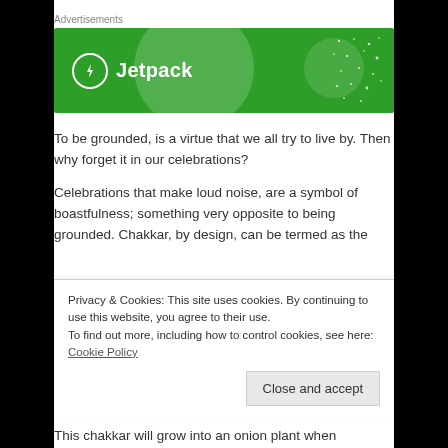Advertisements
[Figure (illustration): Jetpack advertisement banner — green background with large semi-transparent circle, small circle, scattered dots, Jetpack logo (lightning bolt in circle) and text 'Jetpack' in white]
To be grounded, is a virtue that we all try to live by. Then why forget it in our celebrations?
Celebrations that make loud noise, are a symbol of boastfulness; something very opposite to being grounded. Chakkar, by design, can be termed as the
Privacy & Cookies: This site uses cookies. By continuing to use this website, you agree to their use.
To find out more, including how to control cookies, see here: Cookie Policy
Close and accept
This chakkar will grow into an onion plant when